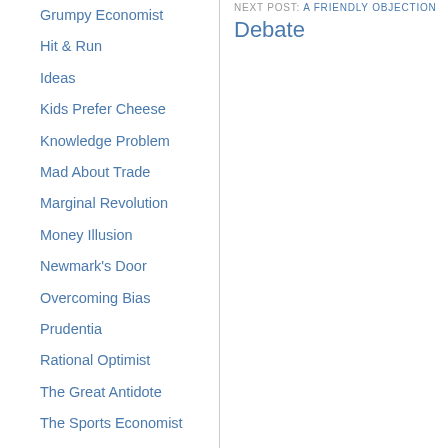Grumpy Economist
Hit & Run
Ideas
Kids Prefer Cheese
Knowledge Problem
Mad About Trade
Marginal Revolution
Money Illusion
Newmark's Door
Overcoming Bias
Prudentia
Rational Optimist
The Great Antidote
The Sports Economist
ThinkMarkets
Tim Worstall
NEXT POST: A Friendly Objection
Debate